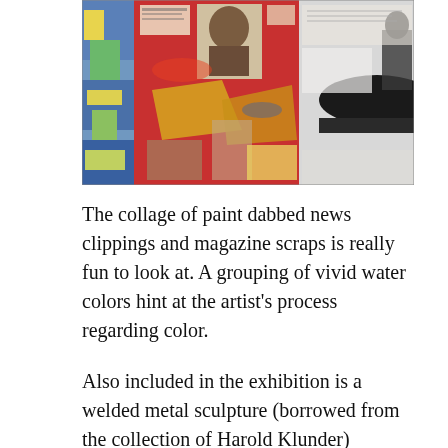[Figure (photo): A collage artwork showing paint-dabbed news clippings and magazine scraps. On the left is a colorful blue, yellow, and green abstract image. In the center is a red background collage with a Black man's portrait at the top and torn paper pieces. On the right are black and white images including what appears to be a zeppelin or airship and a figure.]
The collage of paint dabbed news clippings and magazine scraps is really fun to look at. A grouping of vivid water colors hint at the artist's process regarding color.
Also included in the exhibition is a welded metal sculpture (borrowed from the collection of Harold Klunder) created by a now deceased French-Canadian nun called Soeur Marie-Anastasie